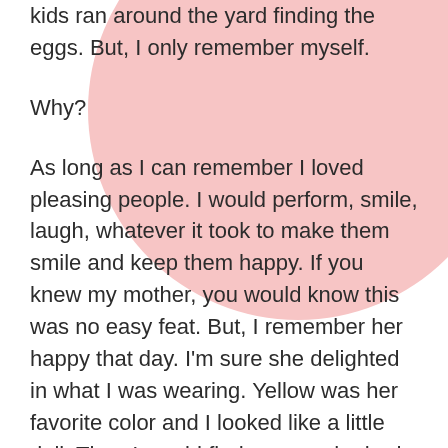standing on the carpet chatting while the kids ran around the yard finding the eggs. But, I only remember myself.
Why?
As long as I can remember I loved pleasing people. I would perform, smile, laugh, whatever it took to make them smile and keep them happy. If you knew my mother, you would know this was no easy feat. But, I remember her happy that day. I'm sure she delighted in what I was wearing. Yellow was her favorite color and I looked like a little doll. Then I would find an egg she had